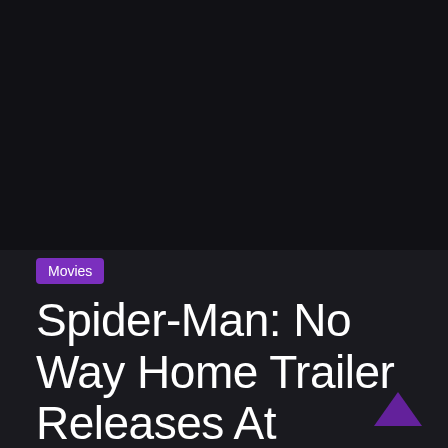[Figure (other): Dark background image area at the top of the page, mostly black/very dark]
Movies
Spider-Man: No Way Home Trailer Releases At CinemaCon, Green Goblin, Electro, and Doctor Octopus Now